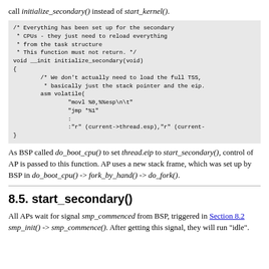call initialize_secondary() instead of start_kernel().
/* Everything has been set up for the secondary
 * CPUs - they just need to reload everything
 * from the task structure
 * This function must not return. */
void __init initialize_secondary(void)
{
        /* We don't actually need to load the full TSS,
         * basically just the stack pointer and the eip.
        asm volatile(
                "movl %0,%%esp\n\t"
                "jmp *%1"
                :
                :"r" (current->thread.esp),"r" (current-
}
As BSP called do_boot_cpu() to set thread.eip to start_secondary(), control of AP is passed to this function. AP uses a new stack frame, which was set up by BSP in do_boot_cpu() -> fork_by_hand() -> do_fork().
8.5. start_secondary()
All APs wait for signal smp_commenced from BSP, triggered in Section 8.2 smp_init() -> smp_commence(). After getting this signal, they will run "idle".